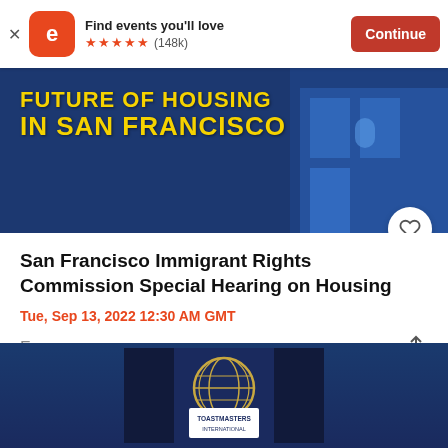Find events you'll love ★★★★★ (148k) Continue
[Figure (photo): Event banner image showing 'FUTURE OF HOUSING IN SAN FRANCISCO' text in yellow on a blue background with a Victorian house]
San Francisco Immigrant Rights Commission Special Hearing on Housing
Tue, Sep 13, 2022 12:30 AM GMT
Free
[Figure (photo): Toastmasters International logo on a dark blue background]